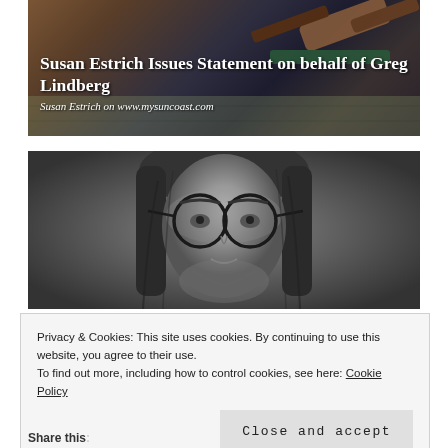[Figure (photo): Background image showing a wooden gavel on a book with currency/financial documents, overlaid with headline text about Susan Estrich and Greg Lindberg]
Susan Estrich Issues Statement on behalf of Greg Lindberg
Susan Estrich on www.mysuncoast.com
[Figure (photo): Black and white close-up portrait photograph of a person with long hair and round glasses]
Privacy & Cookies: This site uses cookies. By continuing to use this website, you agree to their use.
To find out more, including how to control cookies, see here: Cookie Policy